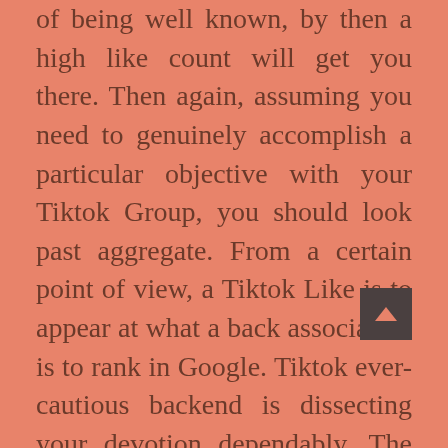of being well known, by then a high like count will get you there. Then again, assuming you need to genuinely accomplish a particular objective with your Tiktok Group, you should look past aggregate. From a certain point of view, a Tiktok Like is to appear at what a back association is to rank in Google. Tiktok ever-cautious backend is dissecting your devotion dependably. The more likes you get, the more appear at you will have, and the more your substance is shared.

It is a cycle, and it can assist you with building tremendous brand care. PTAT,